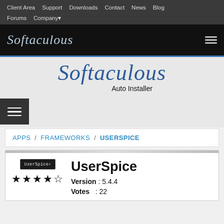Client Area  Support  Downloads  Contact  News  Blog  Forums  Company
[Figure (logo): Softaculous script logo in white/grey on black navigation bar]
[Figure (logo): Softaculous Auto Installer large script logo in blue on light grey background]
APPS / FRAMEWORKS / USERSPICE
UserSpice
Version : 5.4.4
Votes : 22